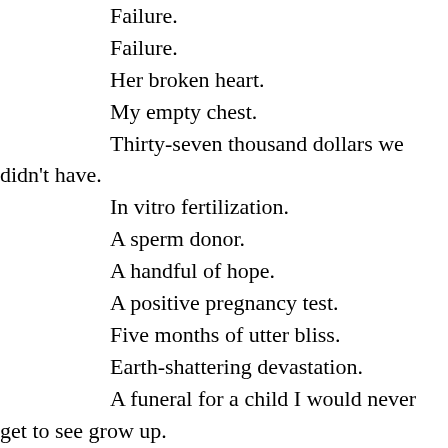Failure.
Failure.
Her broken heart.
My empty chest.
Thirty-seven thousand dollars we didn't have.
In vitro fertilization.
A sperm donor.
A handful of hope.
A positive pregnancy test.
Five months of utter bliss.
Earth-shattering devastation.
A funeral for a child I would never get to see grow up.
A job that became my only reprieve from reality.
And now…losing the only woman I would ever love.